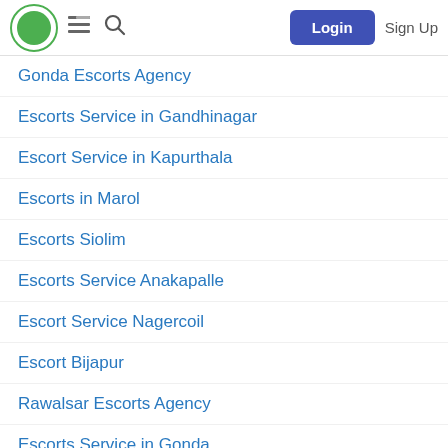Login | Sign Up
Gonda Escorts Agency
Escorts Service in Gandhinagar
Escort Service in Kapurthala
Escorts in Marol
Escorts Siolim
Escorts Service Anakapalle
Escort Service Nagercoil
Escort Bijapur
Rawalsar Escorts Agency
Escorts Service in Gonda
Escort Service in Gandhinagar
Escort in Kapurthala